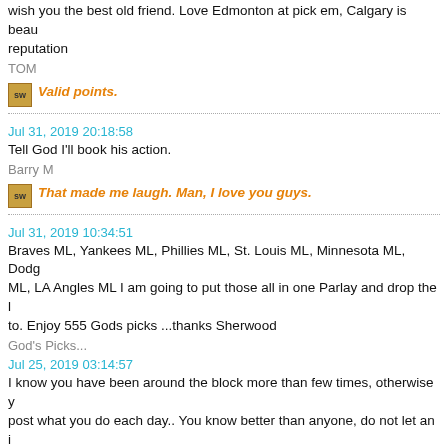wish you the best old friend. Love Edmonton at pick em, Calgary is beau reputation
TOM
Valid points.
Jul 31, 2019 20:18:58
Tell God I'll book his action.
Barry M
That made me laugh. Man, I love you guys.
Jul 31, 2019 10:34:51
Braves ML, Yankees ML, Phillies ML, St. Louis ML, Minnesota ML, Dodg ML, LA Angles ML I am going to put those all in one Parlay and drop the l to. Enjoy 555 Gods picks ...thanks Sherwood
God's Picks...
Jul 25, 2019 03:14:57
I know you have been around the block more than few times, otherwise y post what you do each day.. You know better than anyone, do not let an i compelled to respond. What a Jackass. It's all good. Focus upon the 99% team do.
Scully
Scully, thank-you. Those are wise words that I will copy and pas use every day to write these games up. I will refer back to it whe something that is not worth responding to. The point of posting